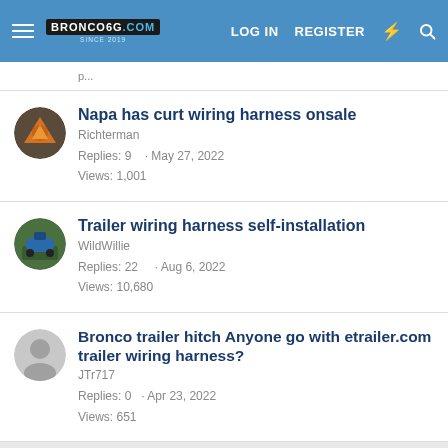Bronco6G.com — LOG IN  REGISTER
Napa has curt wiring harness onsale
Richterman
Replies: 9 · May 27, 2022
Views: 1,001
Trailer wiring harness self-installation
WildWillie
Replies: 22 · Aug 6, 2022
Views: 10,680
Bronco trailer hitch Anyone go with etrailer.com trailer wiring harness?
JTr717
Replies: 0 · Apr 23, 2022
Views: 651